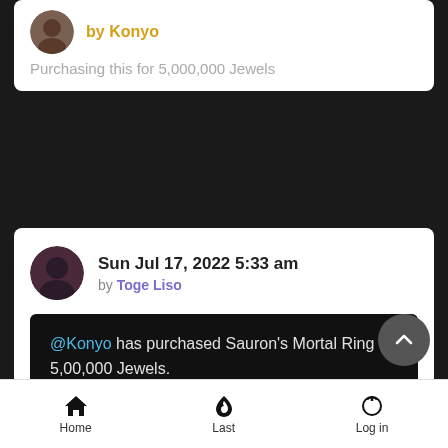by Konyo
Purchasing this for 5,000,000 Jewels
Sun Jul 17, 2022 5:33 am
by Toge Liso
@Konyo has purchased Sauron's Mortal Ring for 5,00,000 Jewels.
Home   Last   Log in